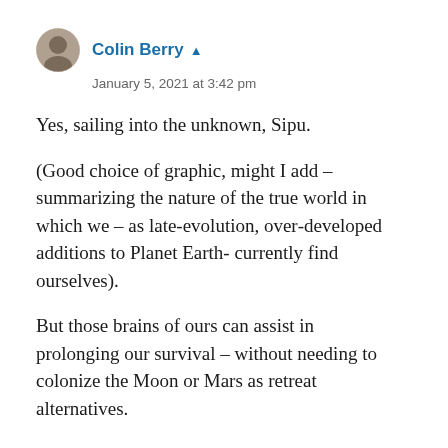Colin Berry
January 5, 2021 at 3:42 pm
Yes, sailing into the unknown, Sipu.
(Good choice of graphic, might I add – summarizing the nature of the true world in which we – as late-evolution, over-developed additions to Planet Earth- currently find ourselves).
But those brains of ours can assist in prolonging our survival – without needing to colonize the Moon or Mars as retreat alternatives.